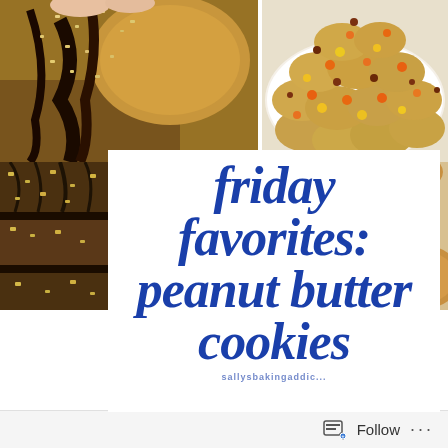[Figure (photo): Food blog collage showing peanut butter cookies with chocolate drizzle and nuts (top left), Reese's pieces cookies on a plate (top right), chocolate-drizzled peanut butter bars (left strip), and a single cookie (bottom right)]
friday favorites: peanut butter cookies
sallysbakingaddic...
Follow ...